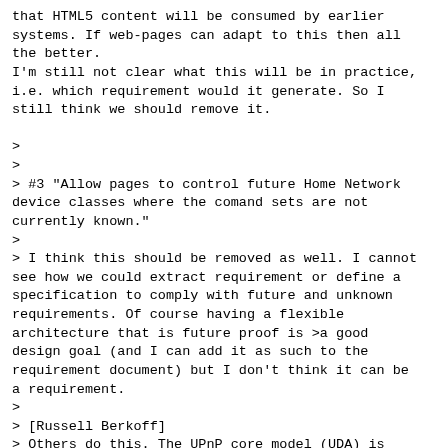that HTML5 content will be consumed by earlier systems. If web-pages can adapt to this then all the better.
I'm still not clear what this will be in practice, i.e. which requirement would it generate. So I still think we should remove it.

>
>
> #3 "Allow pages to control future Home Network device classes where the comand sets are not currently known."
>
> I think this should be removed as well. I cannot see how we could extract requirement or define a specification to comply with future and unknown requirements. Of course having a flexible architecture that is future proof is >a good design goal (and I can add it as such to the requirement document) but I don't think it can be a requirement.
>
> [Russell Berkoff]
> Others do this. The UPnP core model (UDA) is based around some basic services for discovery, network variables, and eventing. The model has proven quite robust and extensible allowing it to support a wide variety of current >and future devices without substantial modification. For